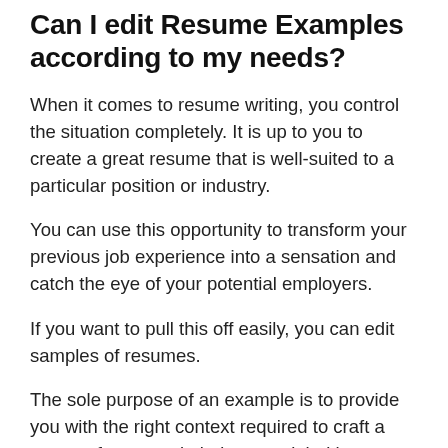Can I edit Resume Examples according to my needs?
When it comes to resume writing, you control the situation completely. It is up to you to create a great resume that is well-suited to a particular position or industry.
You can use this opportunity to transform your previous job experience into a sensation and catch the eye of your potential employers.
If you want to pull this off easily, you can edit samples of resumes.
The sole purpose of an example is to provide you with the right context required to craft a resume for a certain industry or job title.